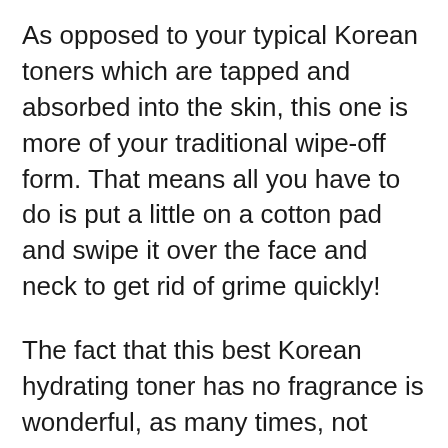As opposed to your typical Korean toners which are tapped and absorbed into the skin, this one is more of your traditional wipe-off form. That means all you have to do is put a little on a cotton pad and swipe it over the face and neck to get rid of grime quickly!
The fact that this best Korean hydrating toner has no fragrance is wonderful, as many times, not everyone is going to like the same scent. It can also be annoying to have the same smell on your face all day long, and it’s wonderful for those with sensitive skin.
So, was there anything we weren’t fans of?
Actually, yes! The shelf life is only 12 months, which